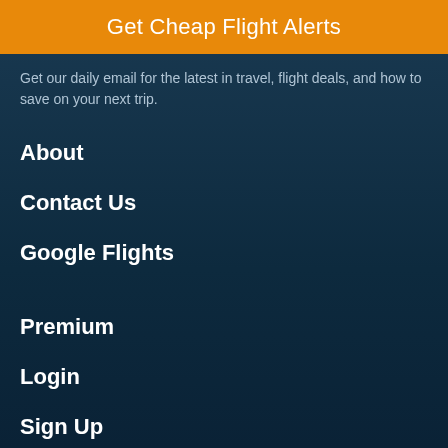Get Cheap Flight Alerts
Get our daily email for the latest in travel, flight deals, and how to save on your next trip.
About
Contact Us
Google Flights
Premium
Login
Sign Up